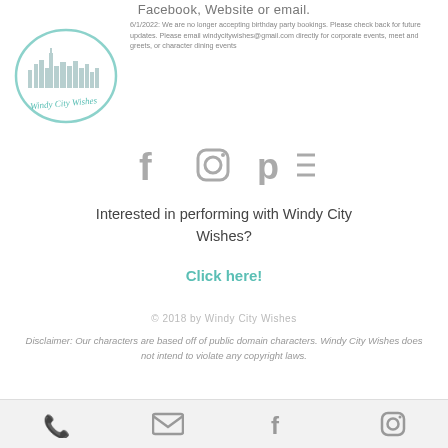Facebook, Website or email.
[Figure (logo): Windy City Wishes logo with Chicago skyline silhouette and cursive text]
6/1/2022: We are no longer accepting birthday party bookings. Please check back for future updates. Please email windycitywishes@gmail.com directly for corporate events, meet and greets, or character dining events
[Figure (infographic): Social media icons: Facebook, Instagram, Pinterest with menu lines]
Interested in performing with Windy City Wishes?
Click here!
© 2018 by Windy City Wishes
Disclaimer: Our characters are based off of public domain characters. Windy City Wishes does not intend to violate any copyright laws.
[Figure (infographic): Bottom bar with phone, email, Facebook, and Instagram icons]